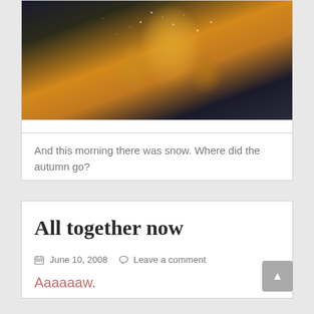[Figure (photo): Close-up macro photograph of a yellow/golden autumn leaf covered in frost crystals (tiny white droplets/ice beads) against a dark blurred background.]
And this morning there was snow. Where did the autumn go?
All together now
June 10, 2008  Leave a comment
Aaaaaaw.